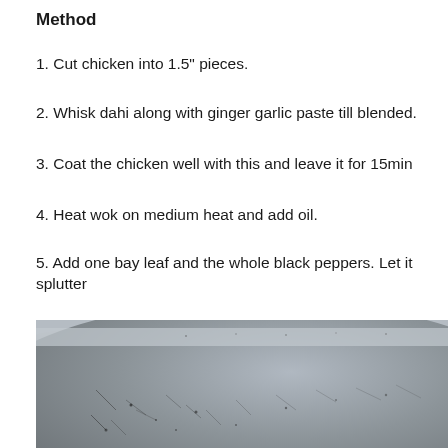Method
1. Cut chicken into 1.5" pieces.
2. Whisk dahi along with ginger garlic paste till blended.
3. Coat the chicken well with this and leave it for 15min
4. Heat wok on medium heat and add oil.
5. Add one bay leaf and the whole black peppers. Let it splutter
[Figure (photo): Close-up photo of a well-seasoned silver/grey wok or metal pan, showing its curved rim and darkened interior surface with black seasoning marks.]